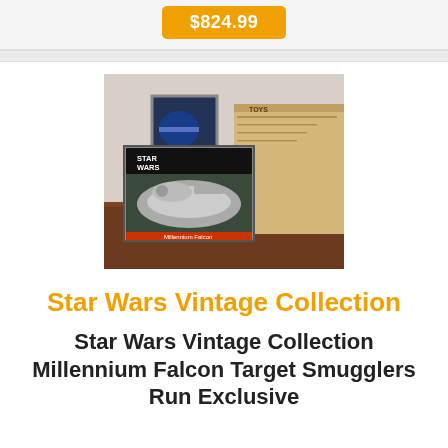$824.99
[Figure (photo): Photo of Star Wars Vintage Collection Millennium Falcon toy in box on a wooden table, with shipping box and a framed picture in the background.]
Star Wars Vintage Collection
Star Wars Vintage Collection Millennium Falcon Target Smugglers Run Exclusive